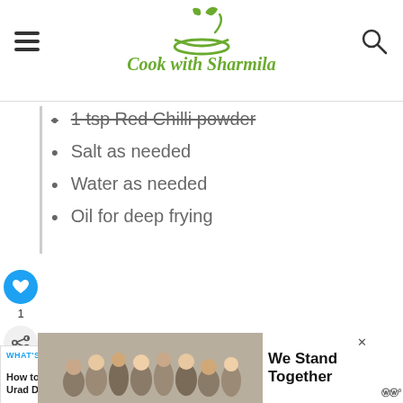Cook with Sharmila
1 tsp Red Chilli powder
Salt as needed
Water as needed
Oil for deep frying
[Figure (infographic): What's Next banner: How to make Urad Dal Flo... with circular food image]
[Figure (infographic): Advertisement banner: We Stand Together with group of people image]